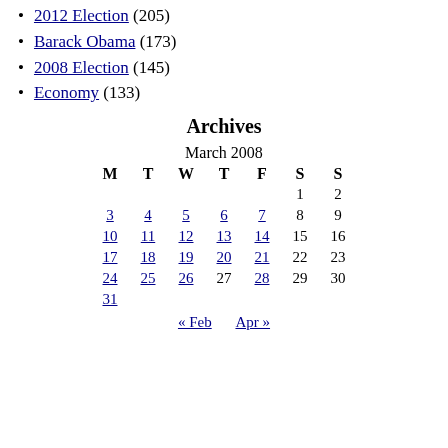2012 Election (205)
Barack Obama (173)
2008 Election (145)
Economy (133)
Archives
| M | T | W | T | F | S | S |
| --- | --- | --- | --- | --- | --- | --- |
|  |  |  |  |  | 1 | 2 |
| 3 | 4 | 5 | 6 | 7 | 8 | 9 |
| 10 | 11 | 12 | 13 | 14 | 15 | 16 |
| 17 | 18 | 19 | 20 | 21 | 22 | 23 |
| 24 | 25 | 26 | 27 | 28 | 29 | 30 |
| 31 |  |  |  |  |  |  |
« Feb   Apr »